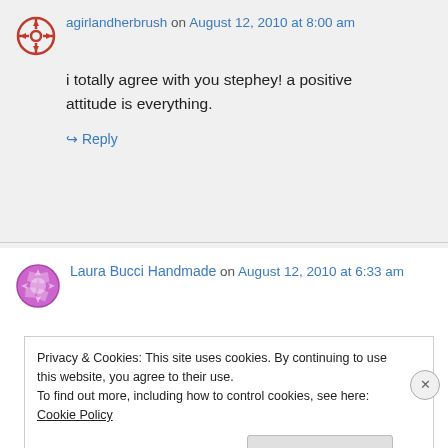agirlandherbrush on August 12, 2010 at 8:00 am
i totally agree with you stephey! a positive attitude is everything.
↳ Reply
Laura Bucci Handmade on August 12, 2010 at 6:33 am
Privacy & Cookies: This site uses cookies. By continuing to use this website, you agree to their use.
To find out more, including how to control cookies, see here: Cookie Policy
Close and accept